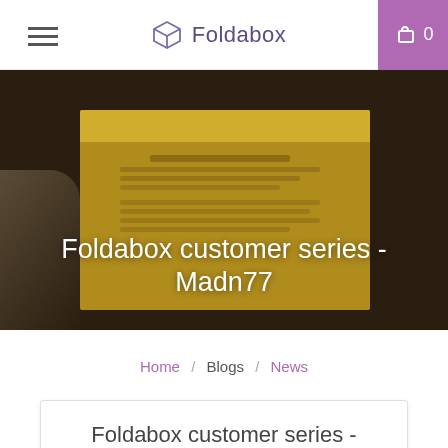Foldabox navigation bar with hamburger menu, logo, and cart
[Figure (photo): Hero banner photo of a yellow subscription box with text cards inside, overlaid with transparent product packaging on a dark background. Bold white title text reads: Foldabox customer series - Madn77]
Foldabox customer series - Madn77
Home / Blogs / News
Foldabox customer series - Madn77